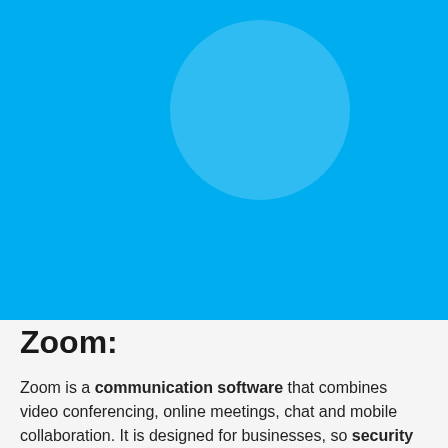[Figure (illustration): Solid sky-blue rectangular background with a semi-transparent light blue circle centered near the top.]
Zoom:
Zoom is a communication software that combines video conferencing, online meetings, chat and mobile collaboration. It is designed for businesses, so security is a priority for them. It is optimized for ease of use and